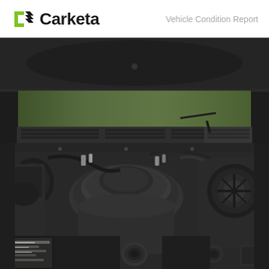Carketa  Vehicle Condition Report
[Figure (photo): Engine compartment photo showing a vehicle engine bay with the hood open. Visible are the intake manifold cover, various engine components, hoses, wiring, and the windshield cowl/grille area above. A sticker/label is visible at the bottom left.]